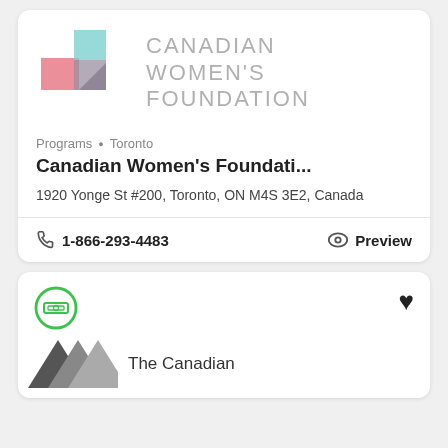[Figure (logo): Canadian Women's Foundation logo with pink and teal geometric shapes and grey text]
Programs · Toronto
Canadian Women's Foundati...
1920 Yonge St #200, Toronto, ON M4S 3E2, Canada
1-866-293-4483
Preview
[Figure (logo): Second card with green circle money icon, heart icon, and partial The Canadian logo at bottom]